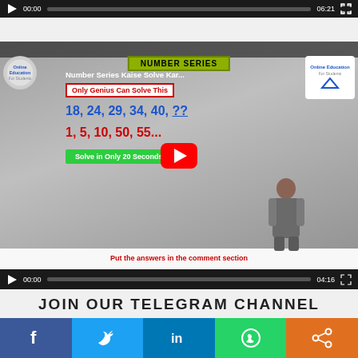[Figure (screenshot): Video player controls bar showing play button, 00:00 timestamp, progress bar, and 06:21 end time with fullscreen button on dark background]
[Figure (screenshot): YouTube video thumbnail for 'Number Series Kaise Solve Kar...' showing number series puzzle: 18,24,29,34,40,?? and 1,5,10,50,55... with text 'Only Genius Can Solve This' and 'Solve in Only 20 Seconds', Online Education For Students logo, girl image, comment section prompt. Video controls show 00:00 / 04:16.]
JOIN OUR TELEGRAM CHANNEL
[Figure (screenshot): Social share bar with Facebook (blue), Twitter (light blue), LinkedIn (dark blue), WhatsApp (green), and Share (orange) buttons]